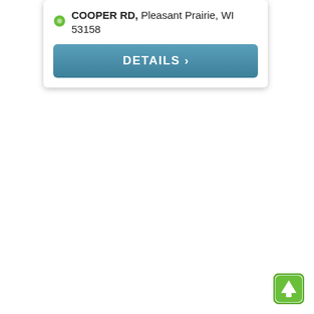COOPER RD, Pleasant Prairie, WI 53158
[Figure (screenshot): A DETAILS button with a right chevron arrow, styled with a teal/blue gradient background and white text.]
[Figure (other): A scroll-to-top button icon in the bottom right corner — green rounded square with an upward arrow.]